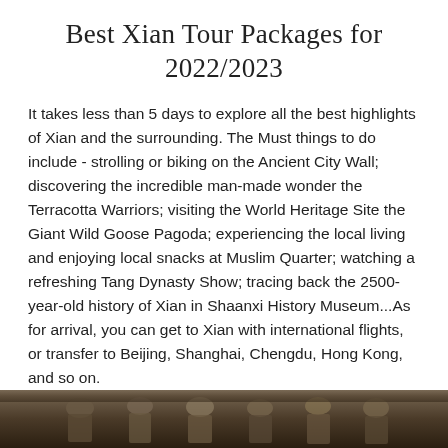Best Xian Tour Packages for 2022/2023
It takes less than 5 days to explore all the best highlights of Xian and the surrounding. The Must things to do include - strolling or biking on the Ancient City Wall; discovering the incredible man-made wonder the Terracotta Warriors; visiting the World Heritage Site the Giant Wild Goose Pagoda; experiencing the local living and enjoying local snacks at Muslim Quarter; watching a refreshing Tang Dynasty Show; tracing back the 2500-year-old history of Xian in Shaanxi History Museum...As for arrival, you can get to Xian with international flights, or transfer to Beijing, Shanghai, Chengdu, Hong Kong, and so on.
Travel with China Discovery! Please don't hesitate to contact us now to have a a tailor-made Xian tour for you!
[Figure (photo): Bottom strip showing a dark photo of Terracotta Warriors or similar ancient Chinese figures]